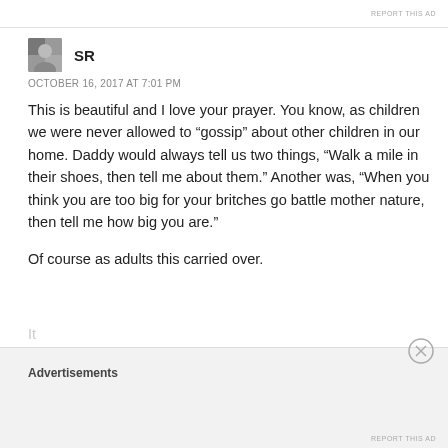REPORT THIS AD
SR
OCTOBER 16, 2017 AT 7:01 PM
This is beautiful and I love your prayer. You know, as children we were never allowed to “gossip” about other children in our home. Daddy would always tell us two things, “Walk a mile in their shoes, then tell me about them.” Another was, “When you think you are too big for your britches go battle mother nature, then tell me how big you are.”
Of course as adults this carried over.
Advertisements
REPORT THIS AD